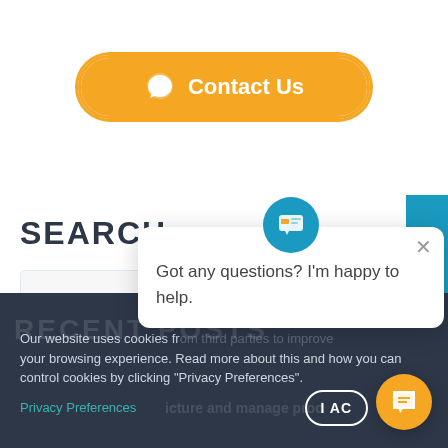[Figure (other): Orange rounded Contact Us button with chat bubble icon]
SEARCH
[Figure (screenshot): Search input field]
[Figure (other): Blue vertical Join us today! tab on right side]
[Figure (other): Chat popup with avatar and message: Got any questions? I'm happy to help.]
Our website uses cookies from third parties to improve your browsing experience. Read more about this and how you can control cookies by clicking "Privacy Preferences".
Privacy Preferences
[Figure (other): I ACCEPT button and orange chat FAB button]